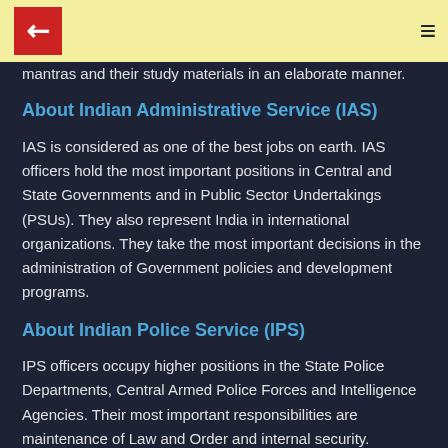mantras and their study materials in an elaborate manner.
About Indian Administrative Service (IAS)
IAS is considered as one of the best jobs on earth. IAS officers hold the most important positions in Central and State Governments and in Public Sector Undertakings (PSUs). They also represent India in international organizations. They take the most important decisions in the administration of Government policies and development programs.
About Indian Police Service (IPS)
IPS officers occupy higher positions in the State Police Departments, Central Armed Police Forces and Intelligence Agencies. Their most important responsibilities are maintenance of Law and Order and internal security.